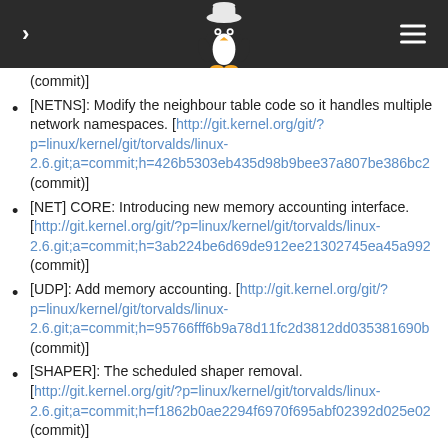Linux kernel changelog navigation header
(commit)]
[NETNS]: Modify the neighbour table code so it handles multiple network namespaces. [http://git.kernel.org/git/?p=linux/kernel/git/torvalds/linux-2.6.git;a=commit;h=426b5303eb435d98b9bee37a807be386bc2 (commit)]
[NET] CORE: Introducing new memory accounting interface. [http://git.kernel.org/git/?p=linux/kernel/git/torvalds/linux-2.6.git;a=commit;h=3ab224be6d69de912ee21302745ea45a992 (commit)]
[UDP]: Add memory accounting. [http://git.kernel.org/git/?p=linux/kernel/git/torvalds/linux-2.6.git;a=commit;h=95766fff6b9a78d11fc2d3812dd035381690b (commit)]
[SHAPER]: The scheduled shaper removal. [http://git.kernel.org/git/?p=linux/kernel/git/torvalds/linux-2.6.git;a=commit;h=f1862b0ae2294f6970f695abf02392d025e02 (commit)]
[NET]: Introducing socket mark socket option.